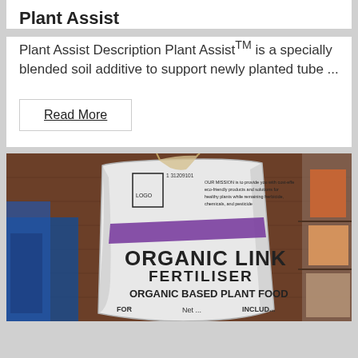Plant Assist
Plant Assist Description Plant AssistTM is a specially blended soil additive to support newly planted tube ...
Read More
[Figure (photo): Photo of a white bag of Organic Link Fertiliser - Organic Based Plant Food, shown in a storage area with brown wood paneling in the background and shelves with other products visible.]